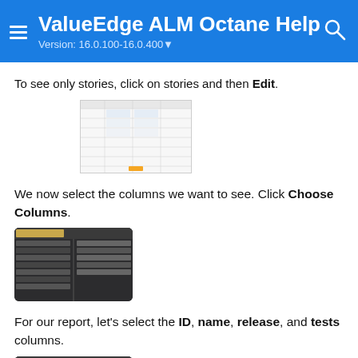ValueEdge ALM Octane Help — Version: 16.0.100-16.0.400
To see only stories, click on stories and then Edit.
[Figure (screenshot): Screenshot of a list/grid view with columns and rows in a light UI]
We now select the columns we want to see. Click Choose Columns.
[Figure (screenshot): Screenshot of a dark UI showing a column selection panel]
For our report, let's select the ID, name, release, and tests columns.
[Figure (screenshot): Screenshot of a dark UI showing a column selection panel with items selected]